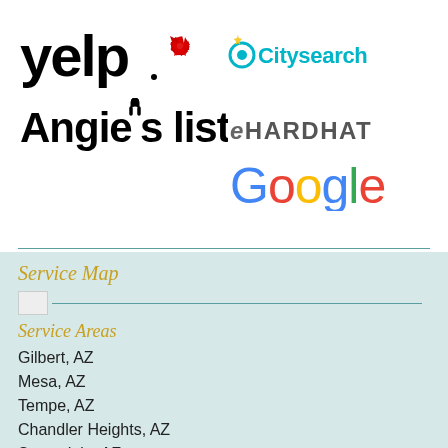[Figure (logo): Yelp logo with red burst icon]
[Figure (logo): Citysearch logo with teal text and star icon]
[Figure (logo): eHARDHAT logo in gray uppercase text]
[Figure (logo): Angie's List logo in bold black text with magnet icon]
[Figure (logo): Google logo in multicolor letters]
Service Map
[Figure (map): Service map image placeholder with teal horizontal line]
Service Areas
Gilbert, AZ
Mesa, AZ
Tempe, AZ
Chandler Heights, AZ
Scottsdale, AZ